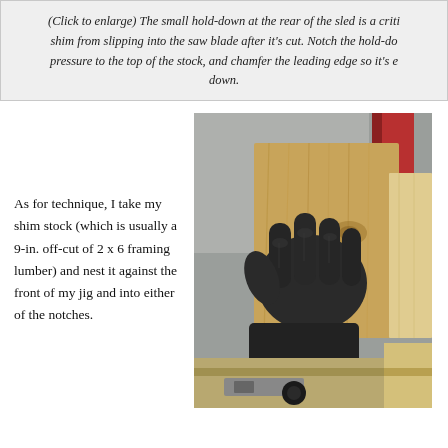(Click to enlarge) The small hold-down at the rear of the sled is a critical part that keeps the shim from slipping into the saw blade after it's cut. Notch the hold-down to apply pressure to the top of the stock, and chamfer the leading edge so it's easy to press down.
As for technique, I take my shim stock (which is usually a 9-in. off-cut of 2 x 6 framing lumber) and nest it against the front of my jig and into either of the notches.
[Figure (photo): A gloved hand pressing a piece of pine/fir lumber (shim stock) against a wooden jig/sled on a table saw. The wood has visible grain. The background shows a red metal post and other workshop equipment.]